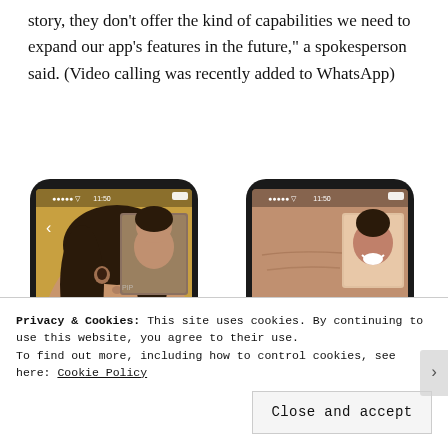story, they don't offer the kind of capabilities we need to expand our app's features in the future," a spokesperson said. (Video calling was recently added to WhatsApp)
[Figure (photo): Two smartphones side by side showing WhatsApp video calling interface. Left phone shows a young woman smiling with a smaller picture-in-picture of another woman. Right phone shows a man wearing glasses close up with a picture-in-picture of a smiling woman.]
Privacy & Cookies: This site uses cookies. By continuing to use this website, you agree to their use.
To find out more, including how to control cookies, see here: Cookie Policy
Close and accept